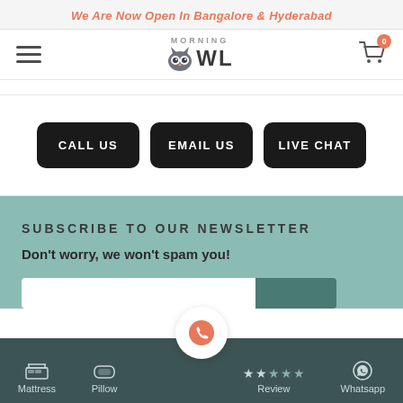We Are Now Open In Bangalore & Hyderabad
[Figure (logo): Morning Owl logo with owl face graphic in center of nav bar]
CALL US
EMAIL US
LIVE CHAT
SUBSCRIBE TO OUR NEWSLETTER
Don't worry, we won't spam you!
Mattress  Pillow  Review  Whatsapp